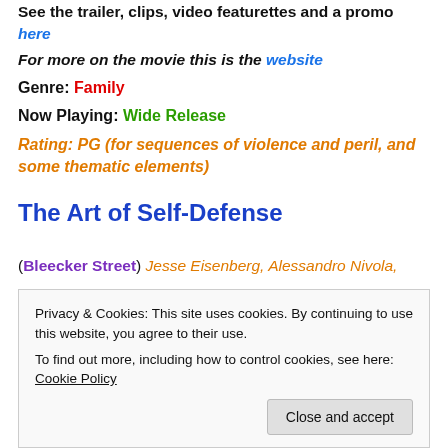See the trailer, clips, video featurettes and a promo here
For more on the movie this is the website
Genre: Family
Now Playing: Wide Release
Rating: PG (for sequences of violence and peril, and some thematic elements)
The Art of Self-Defense
(Bleecker Street) Jesse Eisenberg, Alessandro Nivola,
Privacy & Cookies: This site uses cookies. By continuing to use this website, you agree to their use.
To find out more, including how to control cookies, see here: Cookie Policy
Close and accept